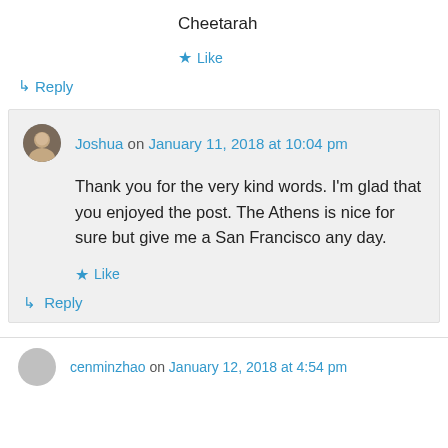Cheetarah
★ Like
↳ Reply
Joshua on January 11, 2018 at 10:04 pm
Thank you for the very kind words. I'm glad that you enjoyed the post. The Athens is nice for sure but give me a San Francisco any day.
★ Like
↳ Reply
cenminzhao on January 12, 2018 at 4:54 pm